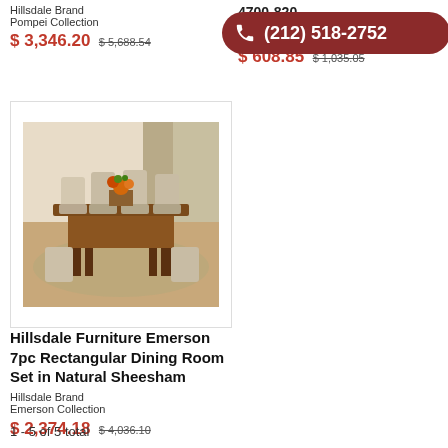Hillsdale Brand
Pompei Collection
$ 3,346.20  $ 5,688.54
4700-820
Hillsdale Brand
Bayberry
$ 608.85  $ 1,035.05
[Figure (photo): Dining room set with wooden rectangular table and upholstered chairs in natural sheesham finish]
Hillsdale Furniture Emerson 7pc Rectangular Dining Room Set in Natural Sheesham
Hillsdale Brand
Emerson Collection
$ 2,374.18  $ 4,036.10
1 - 5 of 5 total